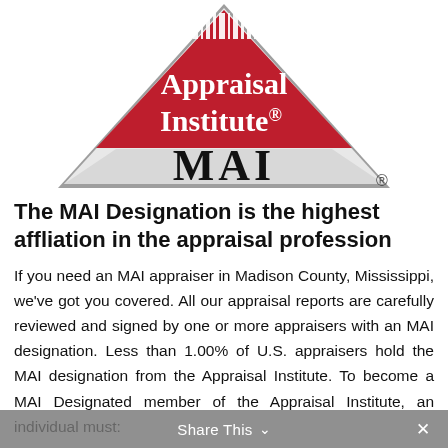[Figure (logo): Appraisal Institute MAI logo — a trapezoid/pyramid shape with a crimson/red upper section containing the text 'Appraisal Institute' in white with a barcode-like graphic at the top, a light grey lower section containing 'MAI' in large black serif text, outlined in grey, with a registered trademark symbol to the lower right.]
The MAI Designation is the highest affliation in the appraisal profession
If you need an MAI appraiser in Madison County, Mississippi, we've got you covered. All our appraisal reports are carefully reviewed and signed by one or more appraisers with an MAI designation. Less than 1.00% of U.S. appraisers hold the MAI designation from the Appraisal Institute. To become a MAI Designated member of the Appraisal Institute, an individual must:
Share This ∨  ×